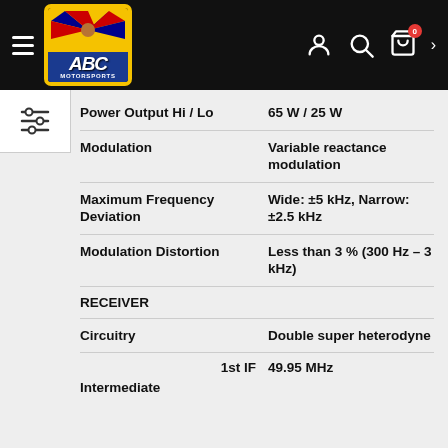ABC MOTORSPORTS
| Specification | Value |
| --- | --- |
| Power Output Hi / Lo | 65 W / 25 W |
| Modulation | Variable reactance modulation |
| Maximum Frequency Deviation | Wide: ±5 kHz, Narrow: ±2.5 kHz |
| Modulation Distortion | Less than 3 % (300 Hz – 3 kHz) |
| RECEIVER |  |
| Circuitry | Double super heterodyne |
| Intermediate (1st IF) | 49.95 MHz |